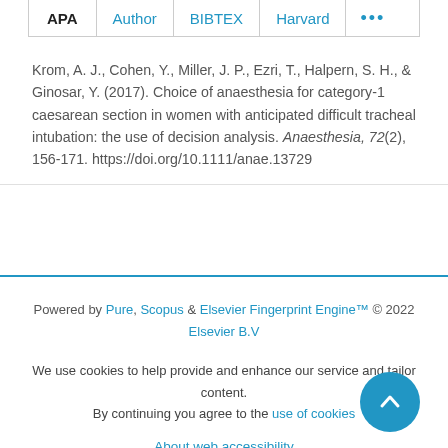APA | Author | BIBTEX | Harvard | ...
Krom, A. J., Cohen, Y., Miller, J. P., Ezri, T., Halpern, S. H., & Ginosar, Y. (2017). Choice of anaesthesia for category-1 caesarean section in women with anticipated difficult tracheal intubation: the use of decision analysis. Anaesthesia, 72(2), 156-171. https://doi.org/10.1111/anae.13729
Powered by Pure, Scopus & Elsevier Fingerprint Engine™ © 2022 Elsevier B.V
We use cookies to help provide and enhance our service and tailor content. By continuing you agree to the use of cookies
About web accessibility